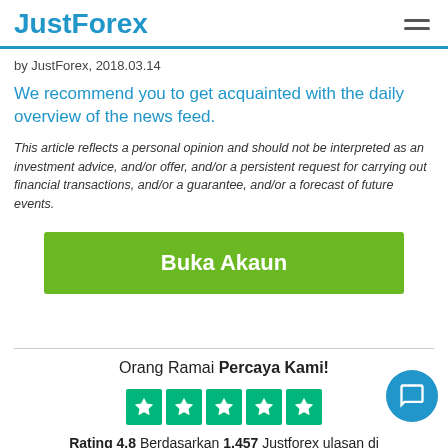JustForex
by JustForex, 2018.03.14
We recommend you to get acquainted with the daily overview of the news feed.
This article reflects a personal opinion and should not be interpreted as an investment advice, and/or offer, and/or a persistent request for carrying out financial transactions, and/or a guarantee, and/or a forecast of future events.
[Figure (other): Green call-to-action button labeled Buka Akaun]
Orang Ramai Percaya Kami!
[Figure (other): Trustpilot 5-star rating row with 5 green star boxes]
Rating 4.8 Berdasarkan 1,457 Justforex ulasan di